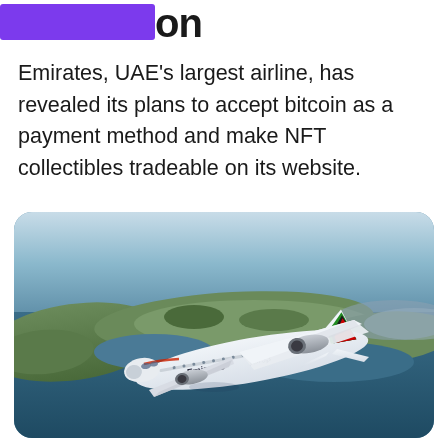...olution
Emirates, UAE's largest airline, has revealed its plans to accept bitcoin as a payment method and make NFT collectibles tradeable on its website.
[Figure (photo): Emirates Boeing 777 aircraft in flight over coastal water and land, viewed from above and slightly behind. The white plane with Emirates livery and UAE flag colors on the tail is prominently centered.]